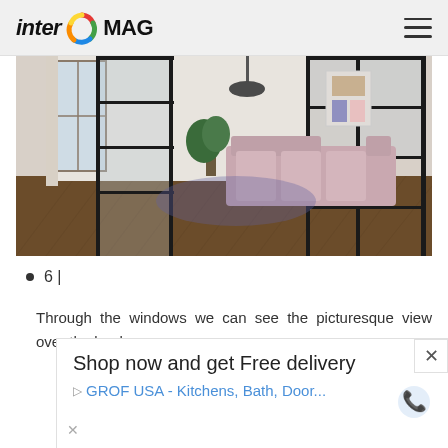inter MAG — navigation header with hamburger menu
[Figure (photo): Interior room photo showing a stylish apartment with black-framed glass partition doors/walls, a pink sofa, wooden herringbone floor, plants, and white walls with windows letting in natural light.]
6 |
Through the windows we can see the picturesque view over the banks
Shop now and get Free delivery
GROF USA - Kitchens, Bath, Door...